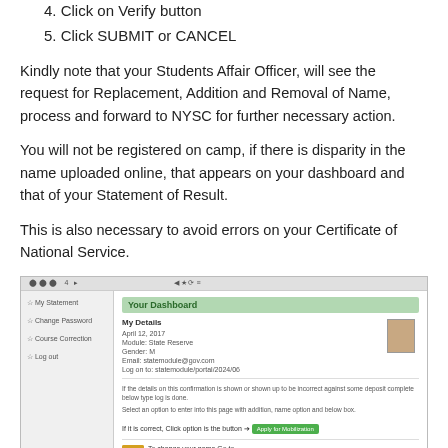4. Click on Verify button
5. Click SUBMIT or CANCEL
Kindly note that your Students Affair Officer, will see the request for Replacement, Addition and Removal of Name, process and forward to NYSC for further necessary action.
You will not be registered on camp, if there is disparity in the name uploaded online, that appears on your dashboard and that of your Statement of Result.
This is also necessary to avoid errors on your Certificate of National Service.
[Figure (screenshot): Screenshot of a student dashboard webpage showing 'Your Dashboard' heading in green, sidebar with menu items (My Statement, Change Password, Course Correction, Log out), user info fields, a profile photo, and action buttons including a green 'Change Name' button and a 'Find Up' button with associated text instructions.]